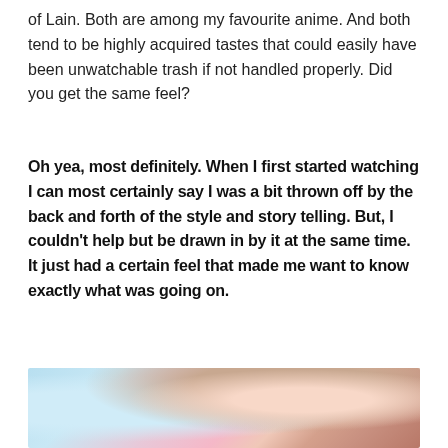of Lain. Both are among my favourite anime. And both tend to be highly acquired tastes that could easily have been unwatchable trash if not handled properly. Did you get the same feel?
Oh yea, most definitely. When I first started watching I can most certainly say I was a bit thrown off by the back and forth of the style and story telling. But, I couldn't help but be drawn in by it at the same time. It just had a certain feel that made me want to know exactly what was going on.
[Figure (photo): Anime screenshot showing a close-up of an anime character's face with eyes closed, brown/reddish hair, against a blue and light background. The image is cropped at the bottom of the page.]